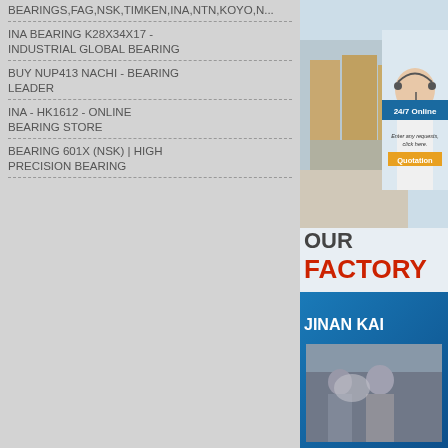BEARINGS,FAG,NSK,TIMKEN,INA,NTN,KOYO,N...
INA BEARING K28X34X17 - INDUSTRIAL GLOBAL BEARING
BUY NUP413 NACHI - BEARING LEADER
INA - HK1612 - ONLINE BEARING STORE
BEARING 601X (NSK) | HIGH PRECISION BEARING
[Figure (photo): Warehouse interior with boxes and pallets, with customer service representative with headset overlay, 24/7 Online badge, quotation button]
OUR FACTORY
[Figure (photo): Blue banner with JINAN KAI text and factory workers photo below]